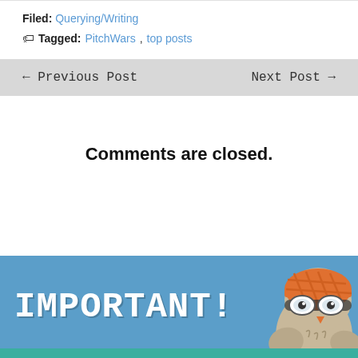Filed: Querying/Writing
Tagged: PitchWars, top posts
← Previous Post   Next Post →
Comments are closed.
[Figure (illustration): Blue banner with bold white text reading IMPORTANT! and a cartoon owl wearing an orange helmet and goggles on the right side, with a teal stripe at the bottom.]